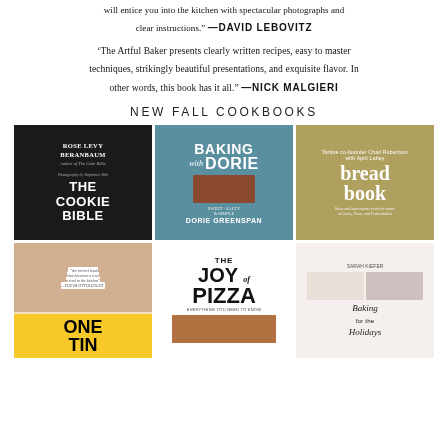will entice you into the kitchen with spectacular photographs and clear instructions." —DAVID LEBOVITZ
'The Artful Baker presents clearly written recipes, easy to master techniques, strikingly beautiful presentations, and exquisite flavor. In other words, this book has it all.' —NICK MALGIERI
NEW FALL COOKBOOKS
[Figure (photo): Book cover: The Cookie Bible by Rose Levy Beranbaum]
[Figure (photo): Book cover: Baking with Dorie by Dorie Greenspan]
[Figure (photo): Book cover: Bread Book by Chad Robertson]
[Figure (photo): Book cover: One Tin]
[Figure (photo): Book cover: The Joy of Pizza]
[Figure (photo): Book cover: Baking for the Holidays]